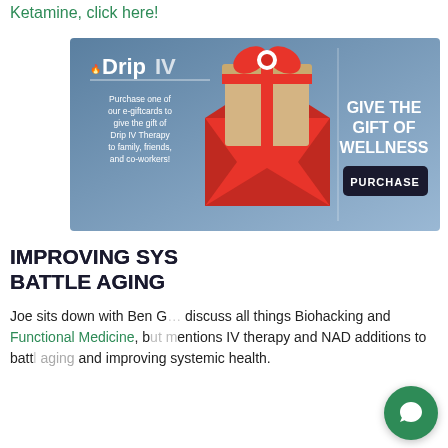Ketamine, click here!
[Figure (illustration): Drip IV advertisement banner showing a gift box inside a red envelope, with text 'GIVE THE GIFT OF WELLNESS' and a PURCHASE button. The Drip IV logo appears on the left with text 'Purchase one of our e-giftcards to give the gift of Drip IV Therapy to family, friends, and co-workers!']
IMPROVING SYSTEMIC HEALTH TO BATTLE AGING
Joe sits down with Ben G... to discuss all things Biohacking and Functional Medicine, but mentions IV therapy and NAD additions to battle aging and improving systemic health.
[Figure (screenshot): Chat widget popup showing a Drip IV flame logo, an X close button, and the message 'Hi there! Have any questions? We can help!' with a teal chat bubble button in the bottom right corner.]